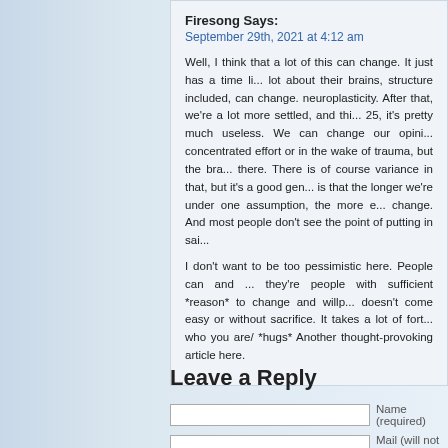Firesong Says:
September 29th, 2021 at 4:12 am
Well, I think that a lot of this can change. It just has a time li... lot about their brains, structure included, can change. neuroplasticity. After that, we're a lot more settled, and thi... 25, it's pretty much useless. We can change our opini... concentrated effort or in the wake of trauma, but the bra... there. There is of course variance in that, but it's a good gen... is that the longer we're under one assumption, the more e... change. And most people don't see the point of putting in sai...
I don't want to be too pessimistic here. People can and ... they're people with sufficient *reason* to change and willp... doesn't come easy or without sacrifice. It takes a lot of fort... who you are/ *hugs* Another thought-provoking article here.
Leave a Reply
Name (required)
Mail (will not be publish...
Website